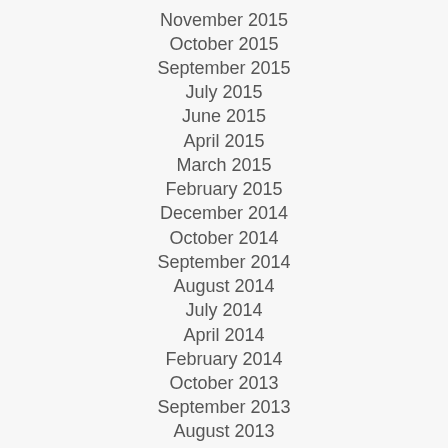November 2015
October 2015
September 2015
July 2015
June 2015
April 2015
March 2015
February 2015
December 2014
October 2014
September 2014
August 2014
July 2014
April 2014
February 2014
October 2013
September 2013
August 2013
May 2013
April 2013
October 2012